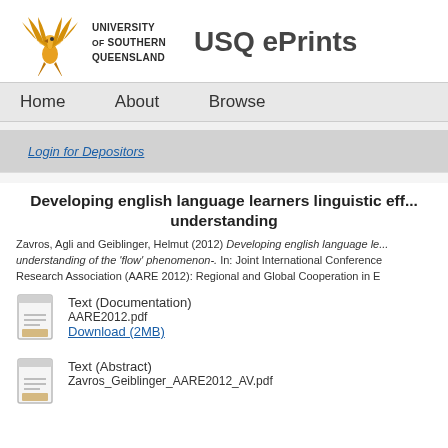[Figure (logo): University of Southern Queensland phoenix logo with text and USQ ePrints heading]
Home   About   Browse
Login for Depositors
Developing english language learners linguistic eff... understanding
Zavros, Agli and Geiblinger, Helmut (2012) Developing english language le... understanding of the 'flow' phenomenon-. In: Joint International Conference Research Association (AARE 2012): Regional and Global Cooperation in E
[Figure (illustration): Document icon for Text (Documentation) file]
Text (Documentation)
AARE2012.pdf
Download (2MB)
[Figure (illustration): Document icon for Text (Abstract) file]
Text (Abstract)
Zavros_Geiblinger_AARE2012_AV.pdf